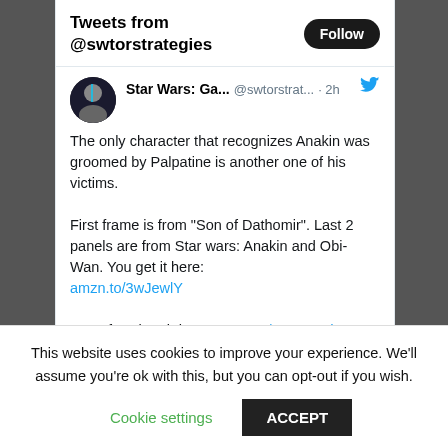Tweets from @swtorstrategies
Star Wars: Ga... @swtorstrat... · 2h
The only character that recognizes Anakin was groomed by Palpatine is another one of his victims.

First frame is from "Son of Dathomir". Last 2 panels are from Star wars: Anakin and Obi-Wan. You get it here: amzn.to/3wJewlY

Son of Dathomir here: amzn.to/3KBDeud
[Figure (screenshot): Comic panel image showing Star Wars characters in black and white with speech bubbles]
This website uses cookies to improve your experience. We'll assume you're ok with this, but you can opt-out if you wish.
Cookie settings   ACCEPT